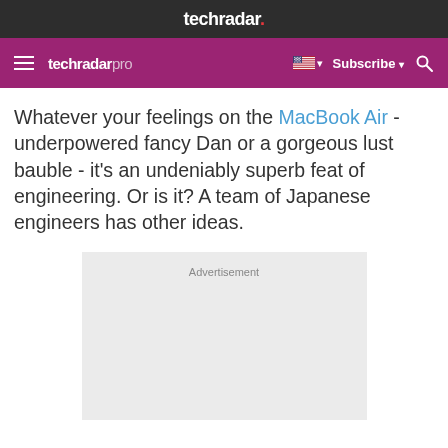techradar.
techradar pro  Subscribe
Whatever your feelings on the MacBook Air - underpowered fancy Dan or a gorgeous lust bauble - it's an undeniably superb feat of engineering. Or is it? A team of Japanese engineers has other ideas.
[Figure (other): Advertisement placeholder box with light gray background and 'Advertisement' label at top]